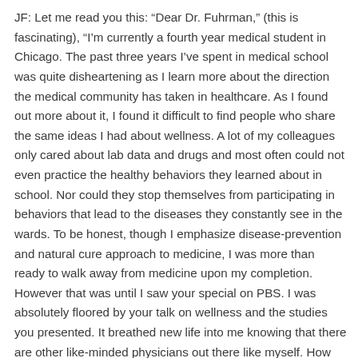JF: Let me read you this: "Dear Dr. Fuhrman," (this is fascinating), "I'm currently a fourth year medical student in Chicago. The past three years I've spent in medical school was quite disheartening as I learn more about the direction the medical community has taken in healthcare. As I found out more about it, I found it difficult to find people who share the same ideas I had about wellness. A lot of my colleagues only cared about lab data and drugs and most often could not even practice the healthy behaviors they learned about in school. Nor could they stop themselves from participating in behaviors that lead to the diseases they constantly see in the wards. To be honest, though I emphasize disease-prevention and natural cure approach to medicine, I was more than ready to walk away from medicine upon my completion. However that was until I saw your special on PBS. I was absolutely floored by your talk on wellness and the studies you presented. It breathed new life into me knowing that there are other like-minded physicians out there like myself. How can I learn more? Are there people in Chicago I can get in touch with? How can I work more closely with you and advance your mission?